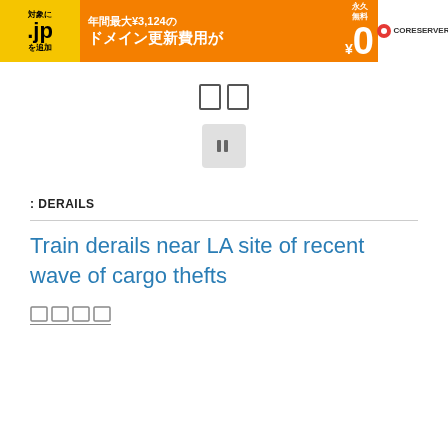[Figure (illustration): Orange and yellow advertisement banner for CORESERVER .jp domain renewal promotion. Text in Japanese: 対象に .jp を追加, 年間最大¥3,124の ドメイン更新費用が, 永久無料 ¥0. CORESERVER logo on white background on the right.]
[Figure (illustration): Two small square icons side by side in the center of the page]
[Figure (illustration): A gray rounded square play/pause button icon in the center]
: DERAILS
Train derails near LA site of recent wave of cargo thefts
[Figure (illustration): Four small tag/label boxes in a row with underline]